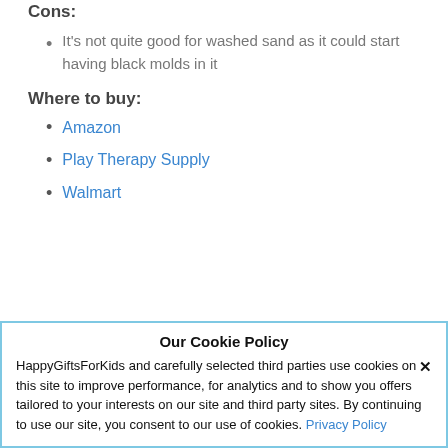Cons:
It's not quite good for washed sand as it could start having black molds in it
Where to buy:
Amazon
Play Therapy Supply
Walmart
Our Cookie Policy
HappyGiftsForKids and carefully selected third parties use cookies on this site to improve performance, for analytics and to show you offers tailored to your interests on our site and third party sites. By continuing to use our site, you consent to our use of cookies. Privacy Policy